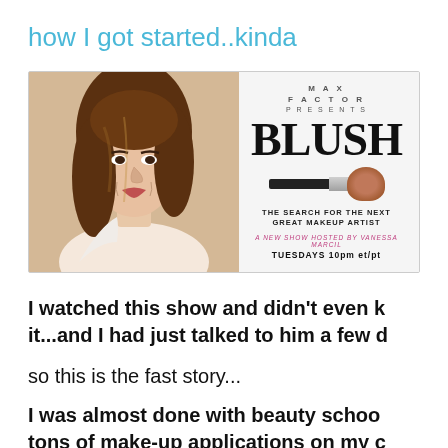how I got started..kinda
[Figure (photo): Advertisement image for Max Factor Presents BLUSH - The Search for the Next Great Makeup Artist, a new show hosted by Vanessa Marcil, Tuesdays 10pm et/pt. Shows a woman with long brown hair on the left, and the show logo with makeup brush on the right.]
I watched this show and didn't even k it...and I had just talked to him a few d
so this is the fast story...
I was almost done with beauty schoo tons of make-up applications on my c boots to do) and then a B